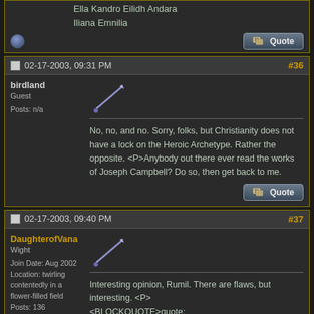Ella Kandro Eilidh Andara Iliana Emnilia
[Figure (screenshot): Globe/offline icon]
[Figure (screenshot): Quote button]
02-17-2003, 09:31 PM
#36
birdland
Guest

Posts: n/a
No, no, and no. Sorry, folks, but Christianity does not have a lock on the Heroic Archetype. Rather the opposite. <P>Anybody out there ever read the works of Joseph Campbell? Do so, then get back to me.
[Figure (screenshot): Quote button]
02-17-2003, 09:40 PM
#37
DaughterofVana
Wight

Join Date: Aug 2002
Location: twirling contentedly in a flower-filled field
Posts: 136
Interesting opinion, Rumil. There are flaws, but interesting. <P> <BLOCKQUOTE>quote: <HR>If I responded further it